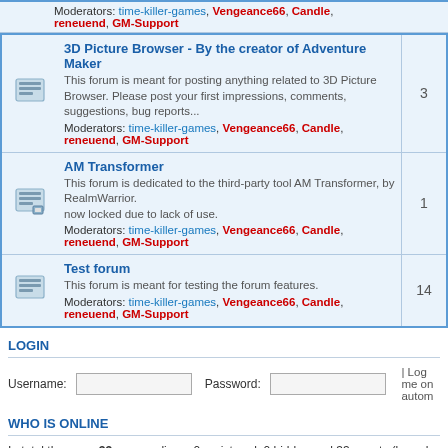Moderators: time-killer-games, Vengeance66, Candle, reneuend, GM-Support
3D Picture Browser - By the creator of Adventure Maker
This forum is meant for posting anything related to 3D Picture Browser. Please post your first impressions, comments, suggestions, bug reports... Moderators: time-killer-games, Vengeance66, Candle, reneuend, GM-Support
AM Transformer
This forum is dedicated to the third-party tool AM Transformer, by RealmWarrior. now locked due to lack of use. Moderators: time-killer-games, Vengeance66, Candle, reneuend, GM-Support
Test forum
This forum is meant for testing the forum features. Moderators: time-killer-games, Vengeance66, Candle, reneuend, GM-Support
LOGIN
Username: [input] Password: [input] | Log me on autom
WHO IS ONLINE
In total there are 33 users online :: 0 registered, 0 hidden and 33 guests (based on users Most users ever online was 343 on Sat Apr 30, 2016 12:14 pm
Registered users: No registered users
Legend: Administrators, Global moderators